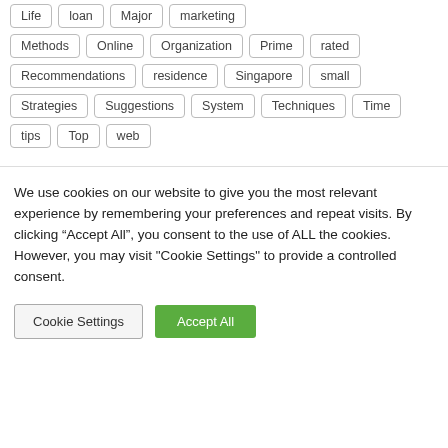Life  loan  Major  marketing  Methods  Online  Organization  Prime  rated  Recommendations  residence  Singapore  small  Strategies  Suggestions  System  Techniques  Time  tips  Top  web
We use cookies on our website to give you the most relevant experience by remembering your preferences and repeat visits. By clicking “Accept All”, you consent to the use of ALL the cookies. However, you may visit "Cookie Settings" to provide a controlled consent.